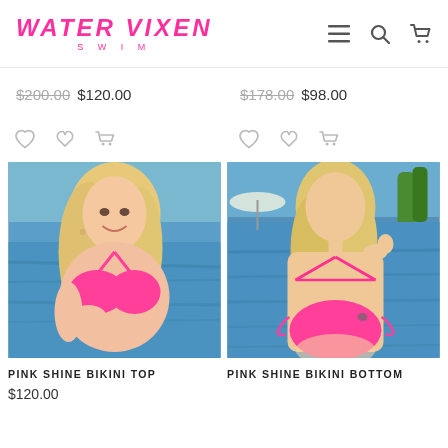WATER VIXEN SWIM
$200.00 $120.00 | $178.00 $98.00
[Figure (photo): Model wearing pink shine bikini top by a pool]
[Figure (photo): Model wearing pink shine bikini bottom by a pool]
PINK SHINE BIKINI TOP
$120.00
PINK SHINE BIKINI BOTTOM